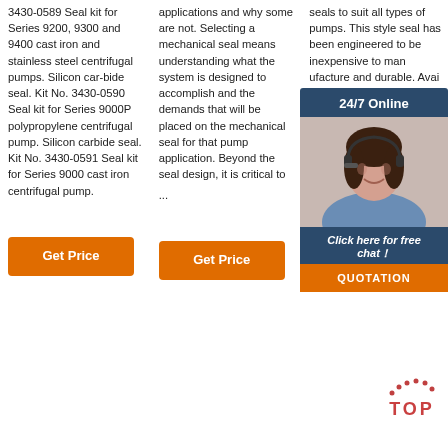3430-0589 Seal kit for Series 9200, 9300 and 9400 cast iron and stainless steel centrifugal pumps. Silicon car-bide seal. Kit No. 3430-0590 Seal kit for Series 9000P polypropylene centrifugal pump. Silicon carbide seal. Kit No. 3430-0591 Seal kit for Series 9000 cast iron centrifugal pump.
applications and why some are not. Selecting a mechanical seal means understanding what the system is designed to accomplish and the demands that will be placed on the mechanical seal for that pump application. Beyond the seal design, it is critical to ...
seals to suit all types of pumps. This style seal has been engineered to be inex... man... dura... Avai... rang... inclu... Silic... Tung... elas... include Viton, Nitrile (Buna-N), and EPDM.
[Figure (photo): Customer service representative with headset, overlaid with '24/7 Online' header, 'Click here for free chat!' text, and orange QUOTATION button]
Get Price (column 1)
Get Price (column 2)
Get Price (column 3)
[Figure (logo): TOP watermark with dotted arc and red TOP text]